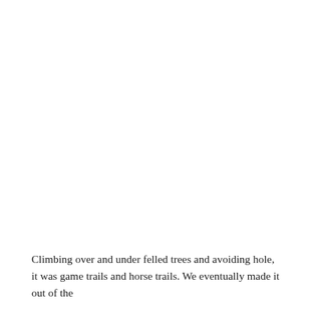Climbing over and under felled trees and avoiding hole, it was game trails and horse trails. We eventually made it out of the